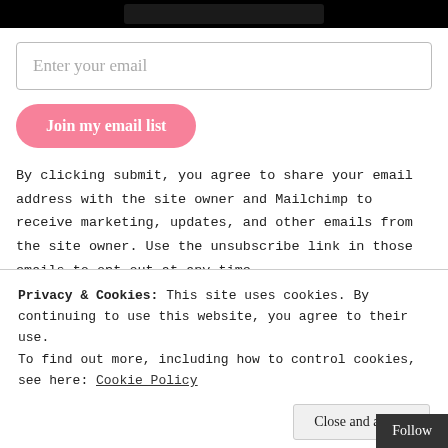[Figure (other): Dark top bar with a black rounded rectangle element, representing a phone or UI element at the top of the page]
Enter your email
Join my email list
By clicking submit, you agree to share your email address with the site owner and Mailchimp to receive marketing, updates, and other emails from the site owner. Use the unsubscribe link in those emails to opt out at any time.
Privacy & Cookies: This site uses cookies. By continuing to use this website, you agree to their use.
To find out more, including how to control cookies, see here: Cookie Policy
Close and accept
Follow